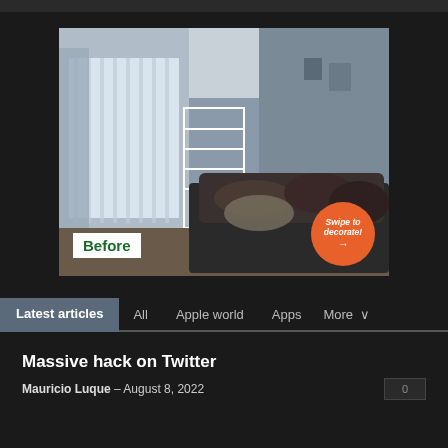[Figure (photo): Bedroom interior photo showing an unmade bed with dark bedding, sheer curtains over a window with blinds, and a white shelf/rack. 'Before' label in green on white badge at bottom left. Orange circular 'Swipe to decorate!' badge at bottom right.]
Latest articles | All | Apple world | Apps | More
Massive hack on Twitter
Mauricio Luque - August 8, 2022